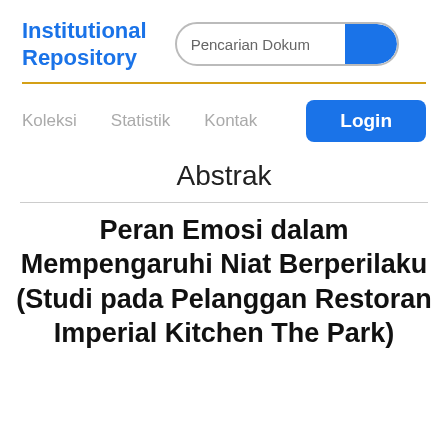Institutional Repository
Pencarian Dokum
Koleksi   Statistik   Kontak   Login
Abstrak
Peran Emosi dalam Mempengaruhi Niat Berperilaku (Studi pada Pelanggan Restoran Imperial Kitchen The Park)